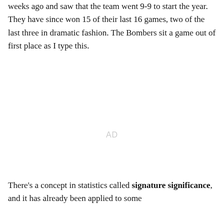weeks ago and saw that the team went 9-9 to start the year. They have since won 15 of their last 16 games, two of the last three in dramatic fashion. The Bombers sit a game out of first place as I type this.
AD
There's a concept in statistics called signature significance, and it has already been applied to some